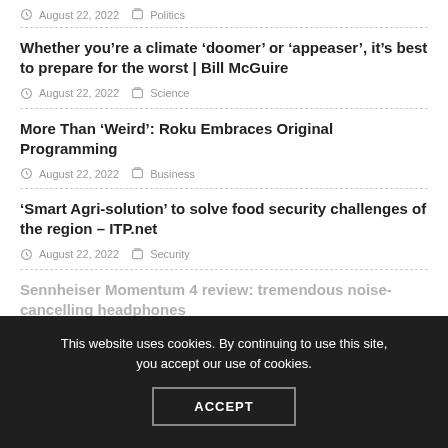August 22, 2022   Politics
Whether you’re a climate ‘doomer’ or ‘appeaser’, it’s best to prepare for the worst | Bill McGuire
August 22, 2022   Science
More Than ‘Weird’: Roku Embraces Original Programming
August 22, 2022   Business
‘Smart Agri-solution’ to solve food security challenges of the region – ITP.net
August 22, 2022   Security
Sennheiser Momentum 4 review: tremendous noise-cancelling headphones
This website uses cookies. By continuing to use this site, you accept our use of cookies.
ACCEPT